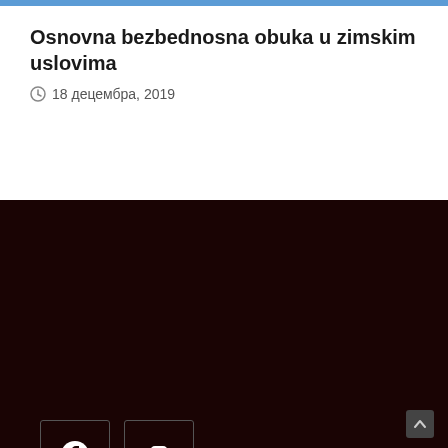Osnovna bezbednosna obuka u zimskim uslovima
18 децембра, 2019
[Figure (logo): Facebook icon in a square border]
[Figure (logo): Instagram icon in a square border]
Kontakt
Adresa: Dimitrija Tucovica 121, Beograd
Email: upravljanje.rizicima.vs@gmail.com